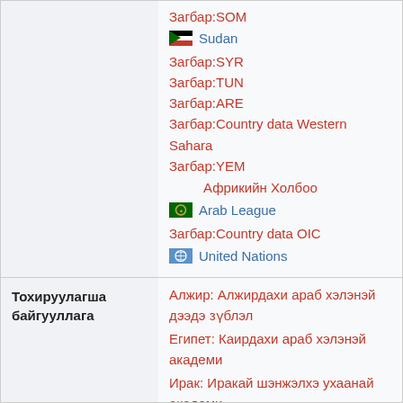Загбар:SOM
Sudan
Загбар:SYR
Загбар:TUN
Загбар:ARE
Загбар:Country data Western Sahara
Загбар:YEM
Африкийн Холбоо
Arab League
Загбар:Country data OIC
United Nations
Тохируулагша байгууллага
Алжир: Алжирдахи араб хэлэнэй дээдэ зүблэл
Египет: Каирдахи араб хэлэнэй академи
Ирак: Иракай шэнжэлхэ ухаанай академи